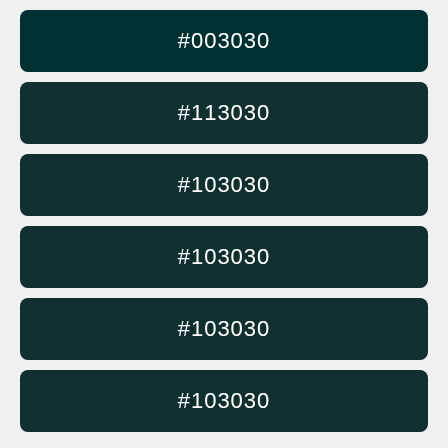#003030
#113030
#103030
#103030
#103030
#103030